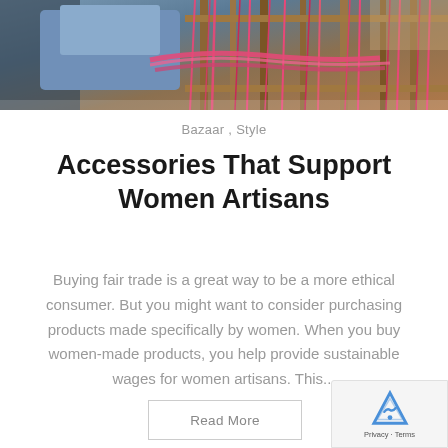[Figure (photo): Photo of a person weaving on a traditional loom with pink/red thread, wooden frame visible, woman in blue garment operating the loom]
Bazaar ,  Style
Accessories That Support Women Artisans
Buying fair trade is a great way to be a more ethical consumer. But you might want to consider purchasing products made specifically by women. When you buy women-made products, you help provide sustainable wages for women artisans. This...
Read More